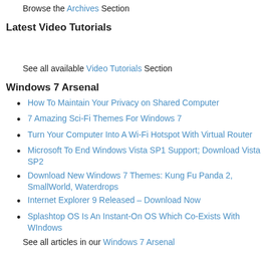Browse the Archives Section
Latest Video Tutorials
See all available Video Tutorials Section
Windows 7 Arsenal
How To Maintain Your Privacy on Shared Computer
7 Amazing Sci-Fi Themes For Windows 7
Turn Your Computer Into A Wi-Fi Hotspot With Virtual Router
Microsoft To End Windows Vista SP1 Support; Download Vista SP2
Download New Windows 7 Themes: Kung Fu Panda 2, SmallWorld, Waterdrops
Internet Explorer 9 Released – Download Now
Splashtop OS Is An Instant-On OS Which Co-Exists With WIndows
See all articles in our Windows 7 Arsenal